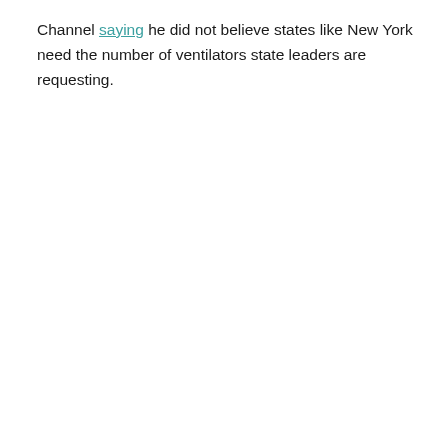Channel saying he did not believe states like New York need the number of ventilators state leaders are requesting.